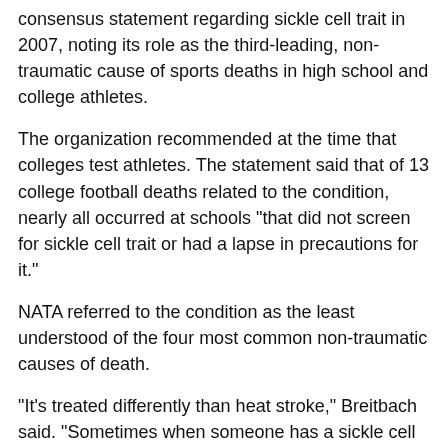consensus statement regarding sickle cell trait in 2007, noting its role as the third-leading, non-traumatic cause of sports deaths in high school and college athletes.
The organization recommended at the time that colleges test athletes. The statement said that of 13 college football deaths related to the condition, nearly all occurred at schools "that did not screen for sickle cell trait or had a lapse in precautions for it."
NATA referred to the condition as the least understood of the four most common non-traumatic causes of death.
"It's treated differently than heat stroke," Breitbach said. "Sometimes when someone has a sickle cell episode, all they're thinking of is cooling the person. The best treatment is to keep the person hydrated and really watch their symptoms and get them out of activity.
"As part of its resolution with Lloyd's family, the NCAA agreed to donate $50,000 to the Sickle Cell Disease Association of America and produce an educational video